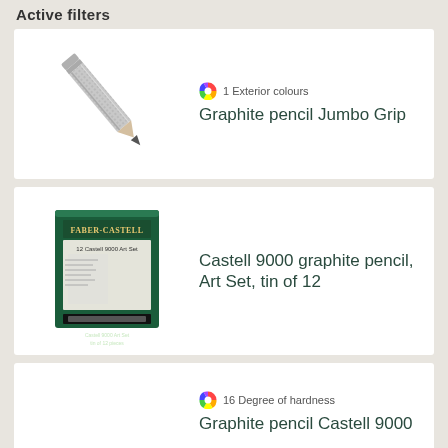Active filters
[Figure (photo): A silver graphite pencil with textured grip, shown diagonally on white background]
1 Exterior colours
Graphite pencil Jumbo Grip
[Figure (photo): Faber-Castell tin box of 12 Castell 9000 graphite pencils, dark green packaging with a pencil visible]
Castell 9000 graphite pencil, Art Set, tin of 12
16 Degree of hardness
Graphite pencil Castell 9000